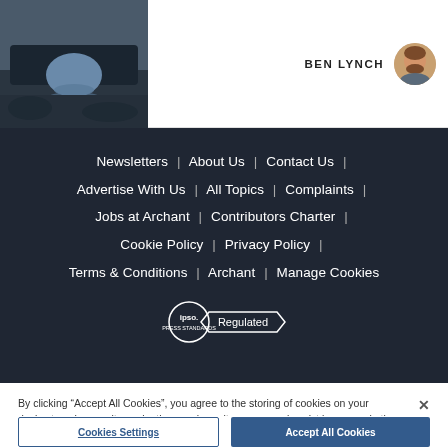[Figure (photo): Photo of a stone bridge arch over a rocky waterway, dark tones]
BEN LYNCH
[Figure (photo): Circular avatar photo of Ben Lynch, a man with beard and short hair]
Newsletters | About Us | Contact Us | Advertise With Us | All Topics | Complaints | Jobs at Archant | Contributors Charter | Cookie Policy | Privacy Policy | Terms & Conditions | Archant | Manage Cookies
[Figure (logo): IPSO Regulated badge — circular IPSO logo with 'Regulated' banner]
By clicking "Accept All Cookies", you agree to the storing of cookies on your device to enhance site navigation, analyze site usage, and assist in our marketing efforts.
Cookies Settings
Accept All Cookies